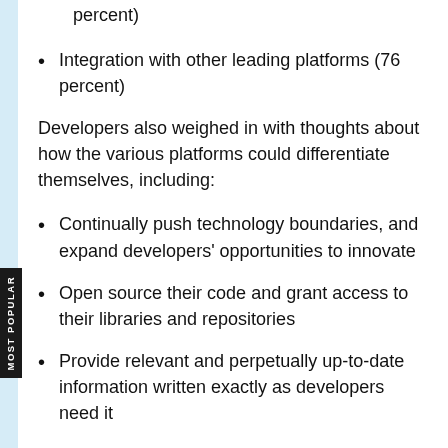percent)
Integration with other leading platforms (76 percent)
Developers also weighed in with thoughts about how the various platforms could differentiate themselves, including:
Continually push technology boundaries, and expand developers' opportunities to innovate
Open source their code and grant access to their libraries and repositories
Provide relevant and perpetually up-to-date information written exactly as developers need it
Be there when needed most, in the ways that each developer group needs them to be